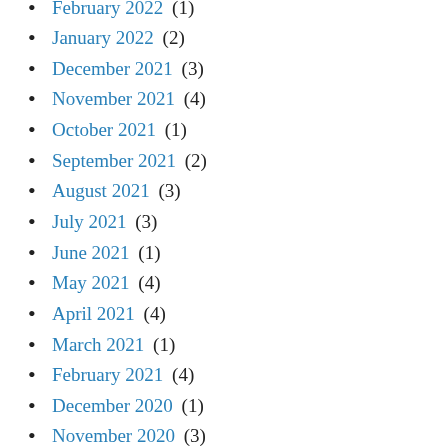February 2022 (1)
January 2022 (2)
December 2021 (3)
November 2021 (4)
October 2021 (1)
September 2021 (2)
August 2021 (3)
July 2021 (3)
June 2021 (1)
May 2021 (4)
April 2021 (4)
March 2021 (1)
February 2021 (4)
December 2020 (1)
November 2020 (3)
October 2020 (2)
September 2020 (2)